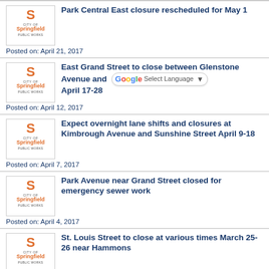Park Central East closure rescheduled for May 1
Posted on: April 21, 2017
East Grand Street to close between Glenstone Avenue and April 17-28
Posted on: April 12, 2017
Expect overnight lane shifts and closures at Kimbrough Avenue and Sunshine Street April 9-18
Posted on: April 7, 2017
Park Avenue near Grand Street closed for emergency sewer work
Posted on: April 4, 2017
St. Louis Street to close at various times March 25-26 near Hammons